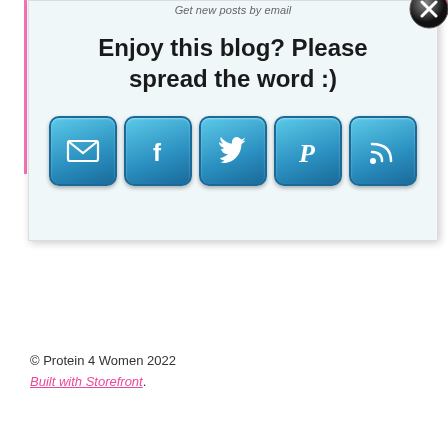Get new posts by email
Enjoy this blog? Please spread the word :)
[Figure (infographic): Five social sharing icon buttons in blue rounded-square style: Email (envelope), Facebook (f), Twitter (bird), Pinterest (P), RSS (signal). Below popup is a close button (X) top-right.]
© Protein 4 Women 2022
Built with Storefront.